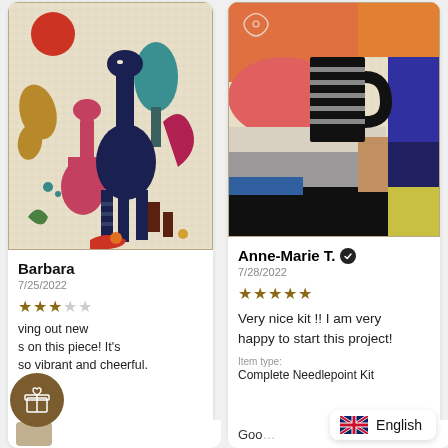[Figure (photo): Needlepoint canvas showing two stylized giraffes (one red, one dark navy) against a cream background with decorative folk-art elements including a red sun, golden botanical shapes, and colorful geometric forms]
Barbara
7/25/2022
★★★
ving out new s on this piece! It's so vibrant and cheerful.
[Figure (photo): Colorful abstract needlepoint canvas with geometric shapes in orange, pink, navy, grey, yellow and black — including a striped black pitcher silhouette against bright color blocks]
Anne-Marie T. ✔
7/28/2022
★★★★★
Very nice kit !! I am very happy to start this project!
Item type:
Complete Needlepoint Kit
English